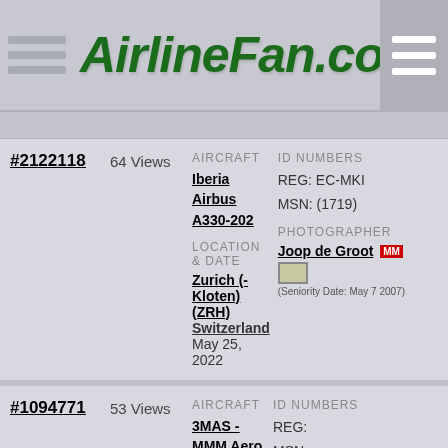AirlineFan.com
#2122118  64 Views  AIRCRAFT: Iberia Airbus A330-202  ID NUMBERS: REG: EC-MKI  MSN: (1719)  LOCATION & DATE: Zurich (- Kloten) (ZRH) Switzerland  May 25, 2022  PHOTOGRAPHER: Joop de Groot  (Seniority Date: May 7 2007)
#1094771  53 Views  AIRCRAFT: 3MAS - MMM Aero Service Adam Aircraft Industries M309  ID NUMBERS: REG:  MSN:  LOCATION & DATE: In Flight Angola  2004  PHOTOGRAPHER: Arturo Preciado  (Seniority Date: )